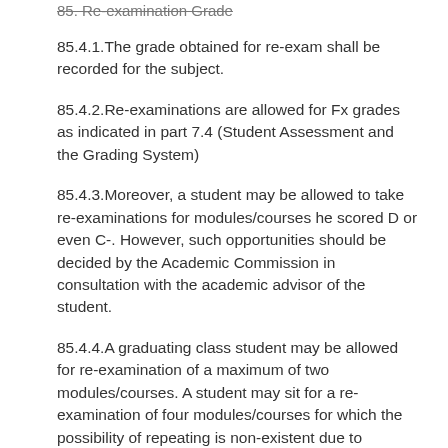85. Re-examination Grade (partially visible, struck through at top)
85.4.1.The grade obtained for re-exam shall be recorded for the subject.
85.4.2.Re-examinations are allowed for Fx grades as indicated in part 7.4 (Student Assessment and the Grading System)
85.4.3.Moreover, a student may be allowed to take re-examinations for modules/courses he scored D or even C-. However, such opportunities should be decided by the Academic Commission in consultation with the academic advisor of the student.
85.4.4.A graduating class student may be allowed for re-examination of a maximum of two modules/courses. A student may sit for a re-examination of four modules/courses for which the possibility of repeating is non-existent due to program discontinuity. Re-examination may be allowed for a student whose CGPA must be such that when an input of a minimum of 2.00 or “C” grade on the module/course is made enables him to